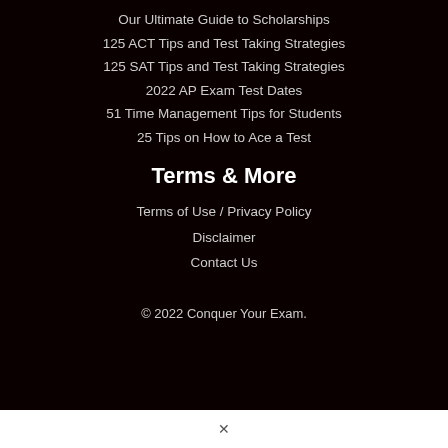Our Ultimate Guide to Scholarships
125 ACT Tips and Test Taking Strategies
125 SAT Tips and Test Taking Strategies
2022 AP Exam Test Dates
51 Time Management Tips for Students
25 Tips on How to Ace a Test
Terms & More
Terms of Use / Privacy Policy
Disclaimer
Contact Us
© 2022 Conquer Your Exam.